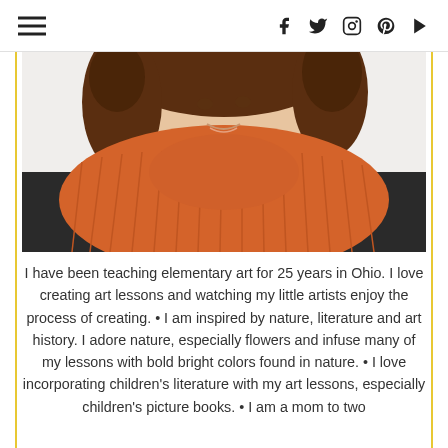≡ (hamburger menu) | social icons: f t instagram pinterest youtube
[Figure (photo): Woman with curly brown hair wearing an orange/rust ribbed knit scarf and black coat, smiling, photographed outdoors with white background]
I have been teaching elementary art for 25 years in Ohio. I love creating art lessons and watching my little artists enjoy the process of creating. • I am inspired by nature, literature and art history. I adore nature, especially flowers and infuse many of my lessons with bold bright colors found in nature. • I love incorporating children's literature with my art lessons, especially children's picture books. • I am a mom to two